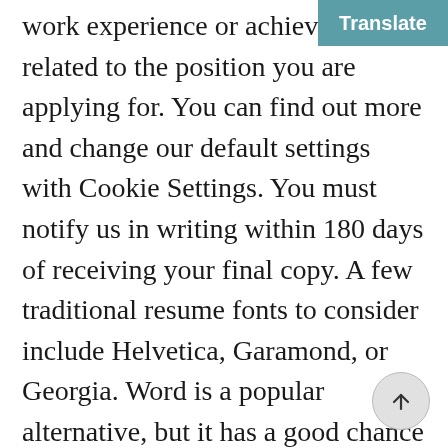work experience or achievements related to the position you are applying for. You can find out more and change our default settings with Cookie Settings. You must notify us in writing within 180 days of receiving your final copy. A few traditional resume fonts to consider include Helvetica, Garamond, or Georgia. Word is a popular alternative, but it has a good chance of messing up your resume formatting. So don't skip out on proofreading and do it right. An unprofessional resume makes you look unprofessional as a job seeker and will cost you a possible interview. Here are